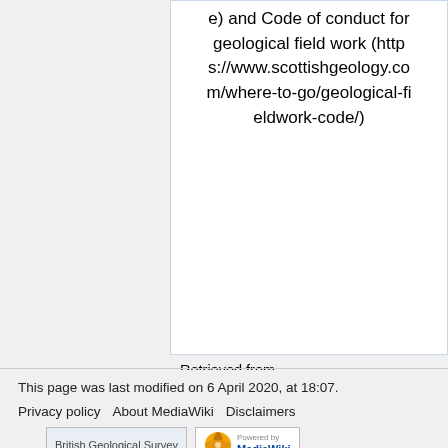e) and Code of conduct for geological field work (https://www.scottishgeology.com/where-to-go/geological-fieldwork-code/)
Retrieved from 'http://earthwise.bgs.ac.uk/index.php?title=Northern_Pennine_Orefield:_Weardale_an_excursion&oldid=45335'
This page was last modified on 6 April 2020, at 18:07.
Privacy policy    About MediaWiki    Disclaimers